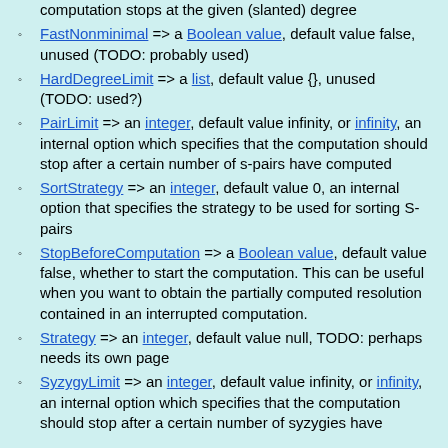computation stops at the given (slanted) degree
FastNonminimal => a Boolean value, default value false, unused (TODO: probably used)
HardDegreeLimit => a list, default value {}, unused (TODO: used?)
PairLimit => an integer, default value infinity, or infinity, an internal option which specifies that the computation should stop after a certain number of s-pairs have computed
SortStrategy => an integer, default value 0, an internal option that specifies the strategy to be used for sorting S-pairs
StopBeforeComputation => a Boolean value, default value false, whether to start the computation. This can be useful when you want to obtain the partially computed resolution contained in an interrupted computation.
Strategy => an integer, default value null, TODO: perhaps needs its own page
SyzygyLimit => an integer, default value infinity, or infinity, an internal option which specifies that the computation should stop after a certain number of syzygies have